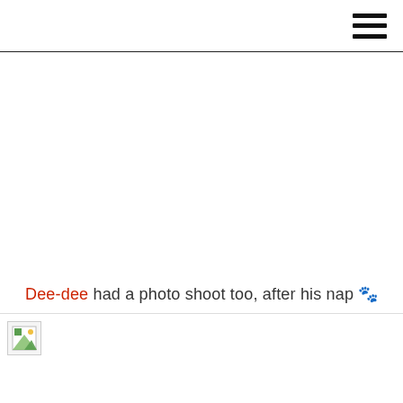☰
Dee-dee had a photo shoot too, after his nap 🐾
[Figure (photo): Broken/missing image placeholder at bottom of page]